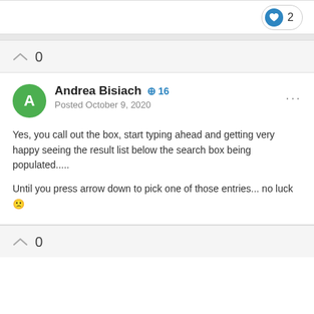[Figure (other): Like button with heart icon showing count of 2]
0
Andrea Bisiach +16
Posted October 9, 2020

Yes, you call out the box, start typing ahead and getting very happy seeing the result list below the search box being populated.....

Until you press arrow down to pick one of those entries... no luck 🙁
0